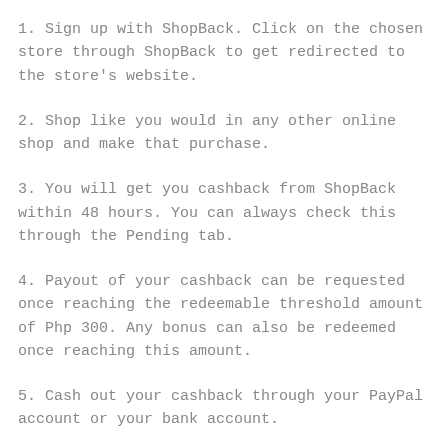1. Sign up with ShopBack. Click on the chosen store through ShopBack to get redirected to the store's website.
2. Shop like you would in any other online shop and make that purchase.
3. You will get you cashback from ShopBack within 48 hours. You can always check this through the Pending tab.
4. Payout of your cashback can be requested once reaching the redeemable threshold amount of Php 300. Any bonus can also be redeemed once reaching this amount.
5. Cash out your cashback through your PayPal account or your bank account.